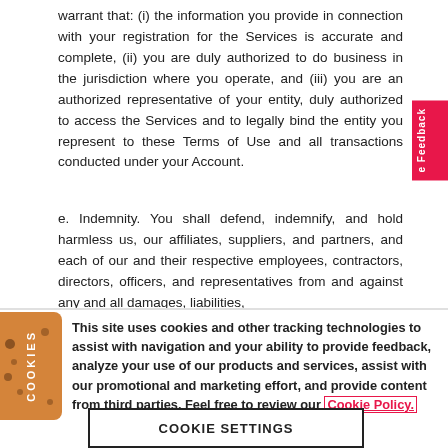warrant that: (i) the information you provide in connection with your registration for the Services is accurate and complete, (ii) you are duly authorized to do business in the jurisdiction where you operate, and (iii) you are an authorized representative of your entity, duly authorized to access the Services and to legally bind the entity you represent to these Terms of Use and all transactions conducted under your Account.
e. Indemnity. You shall defend, indemnify, and hold harmless us, our affiliates, suppliers, and partners, and each of our and their respective employees, contractors, directors, officers, and representatives from and against any and all damages, liabilities,
This site uses cookies and other tracking technologies to assist with navigation and your ability to provide feedback, analyze your use of our products and services, assist with our promotional and marketing effort, and provide content from third parties. Feel free to review our Cookie Policy.
COOKIE SETTINGS